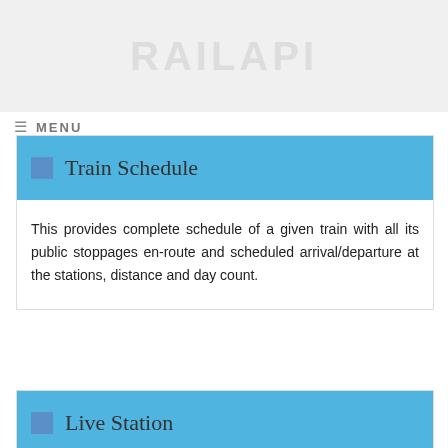MENU
Train Schedule
This provides complete schedule of a given train with all its public stoppages en-route and scheduled arrival/departure at the stations, distance and day count.
Live Station
This option replicates the display boards at station . One can see the trains expected to arrive/depart at any station in next 2,4,6 or 8 hours.